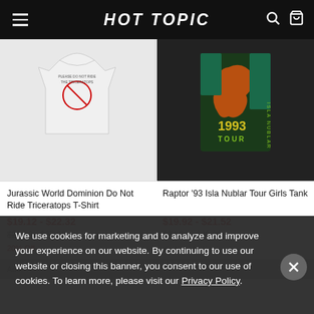HOT TOPIC
[Figure (screenshot): White t-shirt with 'Please Do Not Ride The Triceratops' text and graphic]
[Figure (screenshot): Black tank top with Jurassic Park raptor graphic, 'ISLA NUBLAR 1993 TOUR' text]
Jurassic World Dominion Do Not Ride Triceratops T-Shirt
$19.12 - $22.32
$23.90 - $27.90
20% Off
Raptor '93 Isla Nublar Tour Girls Tank
$19.92 - $21.52
$24.90 - $26.90
★★★★☆
We use cookies for marketing and to analyze and improve your experience on our website. By continuing to use our website or closing this banner, you consent to our use of cookies. To learn more, please visit our Privacy Policy.